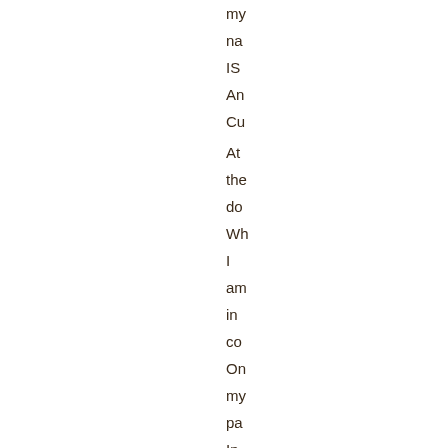my na IS An Cu At the do Wh I am in co On my pa In